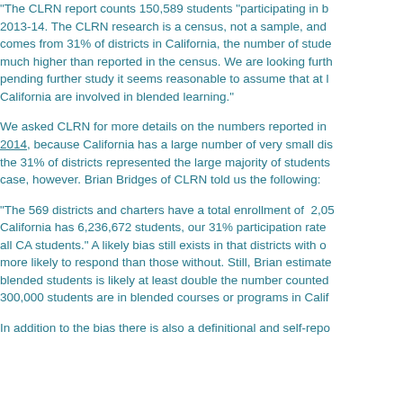“The CLRN report counts 150,589 students “participating in b… 2013-14. The CLRN research is a census, not a sample, and… comes from 31% of districts in California, the number of stude… much higher than reported in the census. We are looking furth… pending further study it seems reasonable to assume that at l… California are involved in blended learning.”
We asked CLRN for more details on the numbers reported in… 2014, because California has a large number of very small dis… the 31% of districts represented the large majority of students… case, however. Brian Bridges of CLRN told us the following:
“The 569 districts and charters have a total enrollment of 2,05… California has 6,236,672 students, our 31% participation rate… all CA students.” A likely bias still exists in that districts with o… more likely to respond than those without. Still, Brian estimate… blended students is likely at least double the number counted… 300,000 students are in blended courses or programs in Calif…
In addition to the bias there is also a definitional and self-repo…